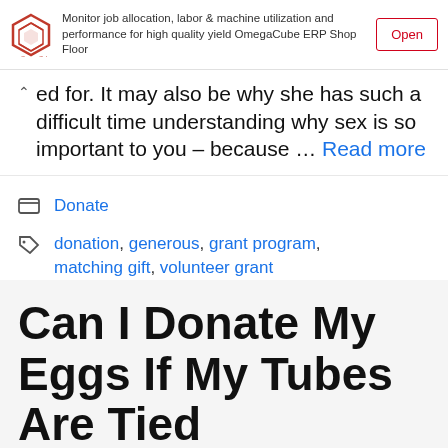[Figure (screenshot): Ad banner for OmegaCube ERP Shop Floor with logo, descriptive text, and Open button]
ed for. It may also be why she has such a difficult time understanding why sex is so important to you – because … Read more
Donate
donation, generous, grant program, matching gift, volunteer grant
Can I Donate My Eggs If My Tubes Are Tied
24.08.2022 by Alex